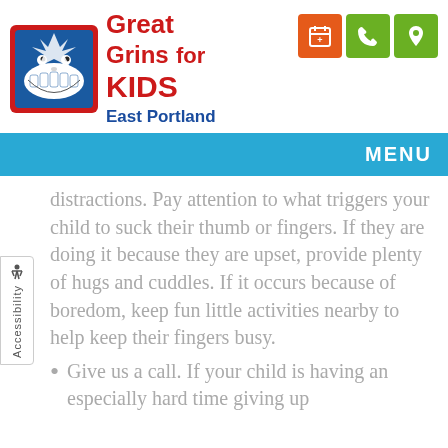[Figure (logo): Great Grins for KIDS logo with cartoon shark face on blue/red background, text 'Great Grins for KIDS' in red, subtitle 'East Portland' in blue, and three icon buttons (calendar, phone, location) in orange and green]
MENU
distractions. Pay attention to what triggers your child to suck their thumb or fingers. If they are doing it because they are upset, provide plenty of hugs and cuddles. If it occurs because of boredom, keep fun little activities nearby to help keep their fingers busy.
Give us a call. If your child is having an especially hard time giving up